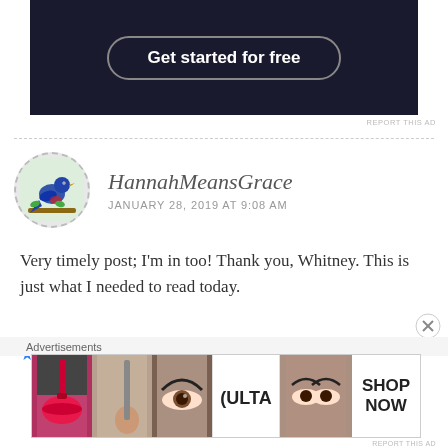[Figure (screenshot): Dark banner advertisement with 'Get started for free' button in rounded border]
REPORT THIS AD
HannahMeansGrace
JANUARY 28, 2019 AT 9:08 AM
Very timely post; I'm in too! Thank you, Whitney. This is just what I needed to read today.
★ Like
Advertisements
[Figure (screenshot): Ulta Beauty advertisement banner with makeup imagery and SHOP NOW text]